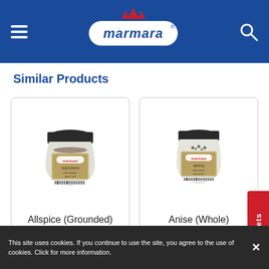[Figure (logo): Marmara brand logo in blue header with hamburger menu and search icon]
Similar Products
[Figure (photo): Allspice (Grounded) product - spice jar with black lid and Marmara label]
Allspice (Grounded)
[Figure (photo): Anise (Whole) product - spice jar with black lid and Marmara label]
Anise (Whole)
Markets
This site uses cookies. If you continue to use the site, you agree to the use of cookies. Click for more information.